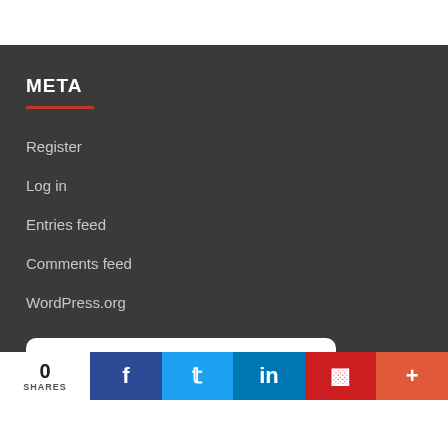META
Register
Log in
Entries feed
Comments feed
WordPress.org
Tweets from
0 SHARES | Facebook | Twitter | LinkedIn | Flipboard | +